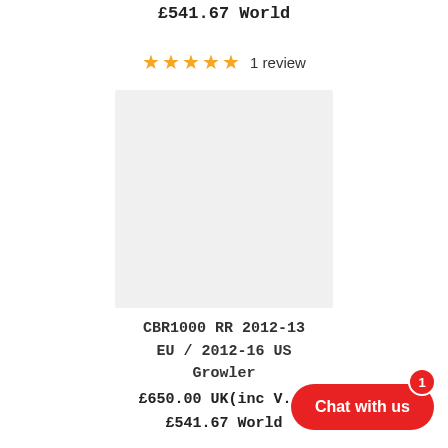£541.67 World
★★★★★ 1 review
[Figure (photo): Product image placeholder — light grey square]
CBR1000 RR 2012-13 EU / 2012-16 US Growler
£650.00 UK(inc V... £541.67 World